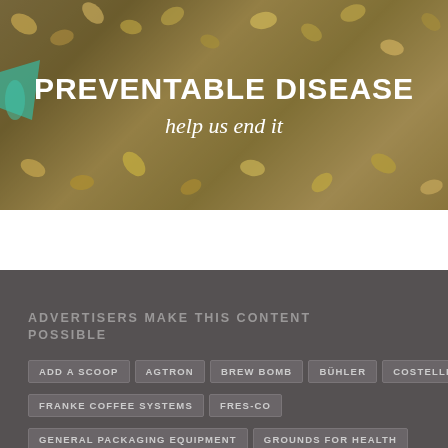[Figure (photo): Banner image with coffee beans background showing text about preventable disease]
PREVENTABLE DISEASE
help us end it
ADVERTISERS MAKE THIS CONTENT POSSIBLE
ADD A SCOOP
AGTRON
BREW BOMB
BÜHLER
COSTELLINI'S
FRANKE COFFEE SYSTEMS
FRES-CO
GENERAL PACKAGING EQUIPMENT
GROUNDS FOR HEALTH